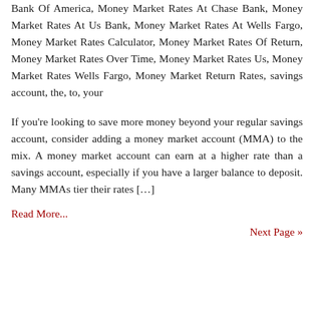Bank Of America, Money Market Rates At Chase Bank, Money Market Rates At Us Bank, Money Market Rates At Wells Fargo, Money Market Rates Calculator, Money Market Rates Of Return, Money Market Rates Over Time, Money Market Rates Us, Money Market Rates Wells Fargo, Money Market Return Rates, savings account, the, to, your
If you're looking to save more money beyond your regular savings account, consider adding a money market account (MMA) to the mix. A money market account can earn at a higher rate than a savings account, especially if you have a larger balance to deposit. Many MMAs tier their rates […]
Read More...
Next Page »